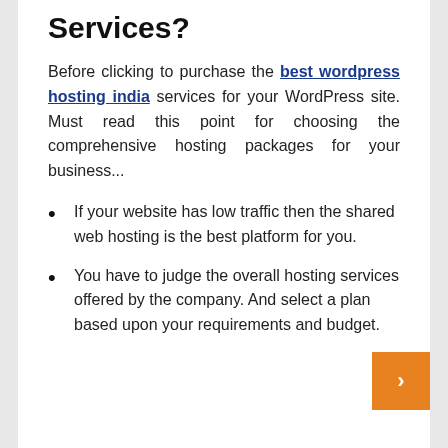Services?
Before clicking to purchase the best wordpress hosting india services for your WordPress site. Must read this point for choosing the comprehensive hosting packages for your business...
If your website has low traffic then the shared web hosting is the best platform for you.
You have to judge the overall hosting services offered by the company. And select a plan based upon your requirements and budget.